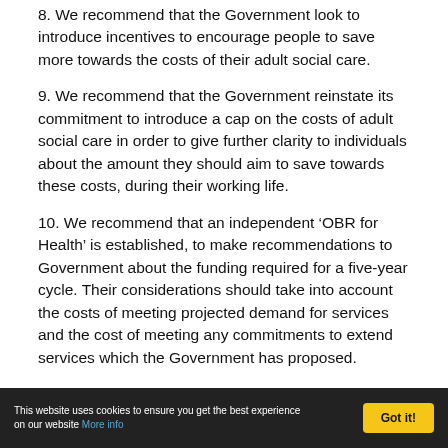8. We recommend that the Government look to introduce incentives to encourage people to save more towards the costs of their adult social care.
9. We recommend that the Government reinstate its commitment to introduce a cap on the costs of adult social care in order to give further clarity to individuals about the amount they should aim to save towards these costs, during their working life.
10. We recommend that an independent ‘OBR for Health’ is established, to make recommendations to Government about the funding required for a five-year cycle. Their considerations should take into account the costs of meeting projected demand for services and the cost of meeting any commitments to extend services which the Government has proposed.
This website uses cookies to ensure you get the best experience on our website More info